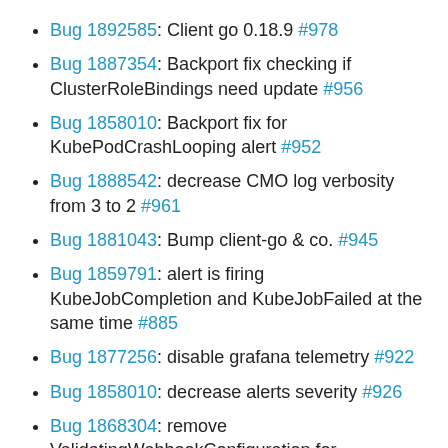Bug 1892585: Client go 0.18.9 #978
Bug 1887354: Backport fix checking if ClusterRoleBindings need update #956
Bug 1858010: Backport fix for KubePodCrashLooping alert #952
Bug 1888542: decrease CMO log verbosity from 3 to 2 #961
Bug 1881043: Bump client-go & co. #945
Bug 1859791: alert is firing KubeJobCompletion and KubeJobFailed at the same time #885
Bug 1877256: disable grafana telemetry #922
Bug 1858010: decrease alerts severity #926
Bug 1868304: remove ValidatingWebhookConfiguration for downgrades #909
Bug 1853496: Cleanup thanos ruler route when user workload monitoring is disabled #840
Bug 1857248: changing KubeQuotaExceeded to